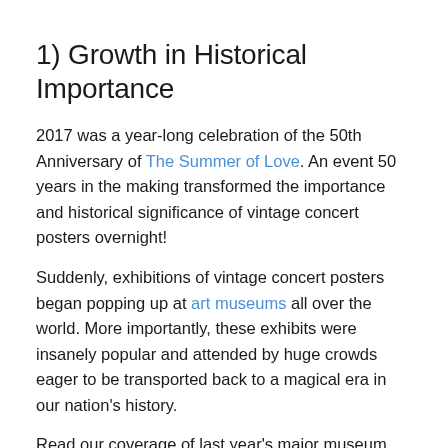1) Growth in Historical Importance
2017 was a year-long celebration of the 50th Anniversary of The Summer of Love. An event 50 years in the making transformed the importance and historical significance of vintage concert posters overnight!
Suddenly, exhibitions of vintage concert posters began popping up at art museums all over the world. More importantly, these exhibits were insanely popular and attended by huge crowds eager to be transported back to a magical era in our nation's history.
Read our coverage of last year's major museum exhibits:
Rolling Stones Exhibitionism in New York City Review